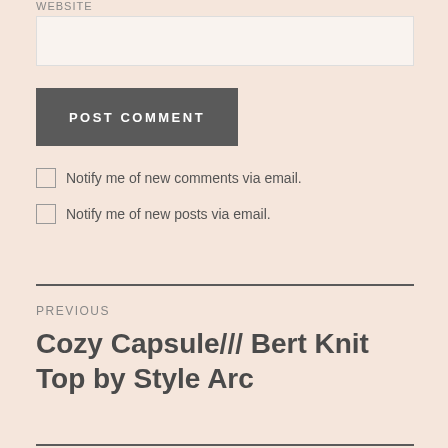WEBSITE
POST COMMENT
Notify me of new comments via email.
Notify me of new posts via email.
PREVIOUS
Cozy Capsule/// Bert Knit Top by Style Arc